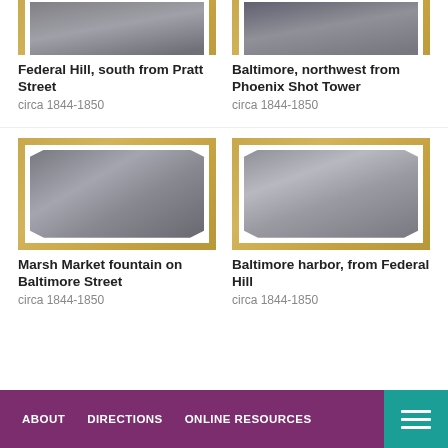[Figure (photo): Daguerreotype photograph: Federal Hill, south from Pratt Street, partially cropped at top]
Federal Hill, south from Pratt Street
circa 1844-1850
[Figure (photo): Daguerreotype photograph: Baltimore, northwest from Phoenix Shot Tower, partially cropped at top]
Baltimore, northwest from Phoenix Shot Tower
circa 1844-1850
[Figure (photo): Daguerreotype photograph: Marsh Market fountain on Baltimore Street]
Marsh Market fountain on Baltimore Street
circa 1844-1850
[Figure (photo): Daguerreotype photograph: Baltimore harbor, from Federal Hill]
Baltimore harbor, from Federal Hill
circa 1844-1850
ABOUT   DIRECTIONS   ONLINE RESOURCES